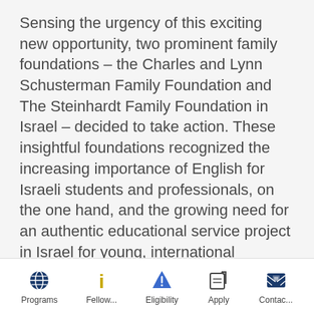Sensing the urgency of this exciting new opportunity, two prominent family foundations – the Charles and Lynn Schusterman Family Foundation and The Steinhardt Family Foundation in Israel – decided to take action. These insightful foundations recognized the increasing importance of English for Israeli students and professionals, on the one hand, and the growing need for an authentic educational service project in Israel for young, international Jewishly-connected educators, on the other. The two foundations partnered with Israel's Ministry of Education to create a unique new program on Israel's educational landscape –
Programs | Fellow... | Eligibility | Apply | Contac...